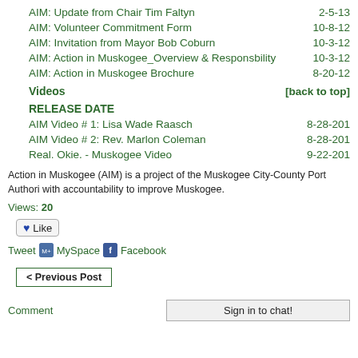AIM: Update from Chair Tim Faltyn  2-5-13
AIM: Volunteer Commitment Form  10-8-12
AIM: Invitation from Mayor Bob Coburn  10-3-12
AIM: Action in Muskogee_Overview & Responsbility  10-3-12
AIM: Action in Muskogee Brochure  8-20-12
Videos  [back to top]
RELEASE DATE
AIM Video # 1: Lisa Wade Raasch  8-28-201
AIM Video # 2: Rev. Marlon Coleman  8-28-201
Real. Okie. - Muskogee Video  9-22-201
Action in Muskogee (AIM) is a project of the Muskogee City-County Port Authori... with accountability to improve Muskogee.
Views: 20
Like
Tweet  MySpace  Facebook
< Previous Post
Comment
Sign in to chat!